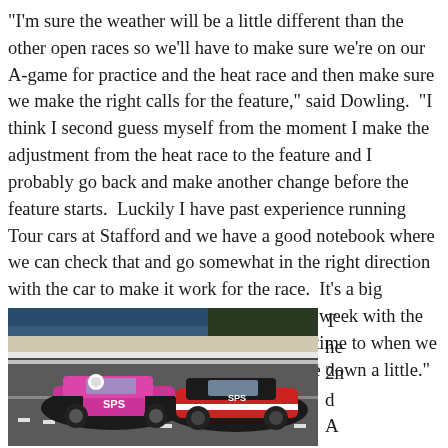"I'm sure the weather will be a little different than the other open races so we'll have to make sure we're on our A-game for practice and the heat race and then make sure we make the right calls for the feature," said Dowling.  "I think I second guess myself from the moment I make the adjustment from the heat race to the feature and I probably go back and make another change before the feature starts.  Luckily I have past experience running Tour cars at Stafford and we have a good notebook where we can check that and go somewhat in the right direction with the car to make it work for the race.  It's a big advantage to know what's going on every week with the track and how the car reacts from the daytime to when we race at night and the temperature has gone down a little."
[Figure (photo): Two modified stock cars racing on a track, one pink and black, one black and red/white, shot from track level]
The 2nd A